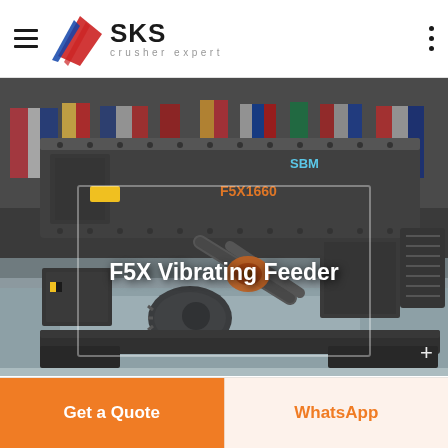SKS crusher expert
[Figure (photo): F5X Vibrating Feeder machine — a large industrial vibrating feeder in dark grey, displayed in a factory/exhibition hall with colorful flags in the background. The machine label 'F5X1660' is visible in orange on the side. Text overlay reads 'F5X Vibrating Feeder'.]
Get a Quote
WhatsApp